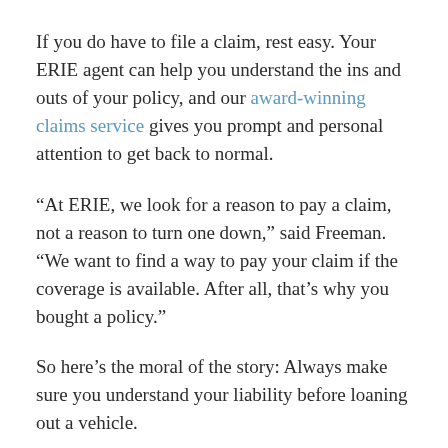If you do have to file a claim, rest easy. Your ERIE agent can help you understand the ins and outs of your policy, and our award-winning claims service gives you prompt and personal attention to get back to normal.
“At ERIE, we look for a reason to pay a claim, not a reason to turn one down,” said Freeman. “We want to find a way to pay your claim if the coverage is available. After all, that’s why you bought a policy.”
So here’s the moral of the story: Always make sure you understand your liability before loaning out a vehicle.
And if you have any questions, your best course of action is to talk to your local ERIE agent<. they your trusted insurance advisor and are always ready to help you get